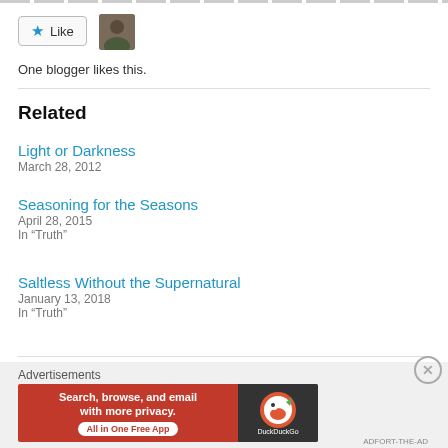[Figure (other): Like button with star icon and blogger avatar photo]
One blogger likes this.
Related
Light or Darkness
March 28, 2012
Seasoning for the Seasons
April 28, 2015
In "Truth"
Saltless Without the Supernatural
January 13, 2018
In "Truth"
Advertisements
[Figure (screenshot): DuckDuckGo advertisement banner: Search, browse, and email with more privacy. All in One Free App]